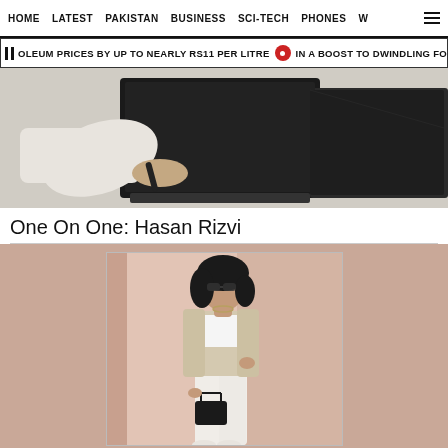HOME  LATEST  PAKISTAN  BUSINESS  SCI-TECH  PHONES  W  ☰
OLEUM PRICES BY UP TO NEARLY RS11 PER LITRE  •  IN A BOOST TO DWINDLING FO
[Figure (photo): Person holding a pen near a laptop, wearing white clothing, close-up shot]
One On One: Hasan Rizvi
[Figure (photo): Young woman posing in a beige blazer, white crop top and white trousers, holding a black handbag, wearing sunglasses, leaning against a wall in a peach/nude toned room]